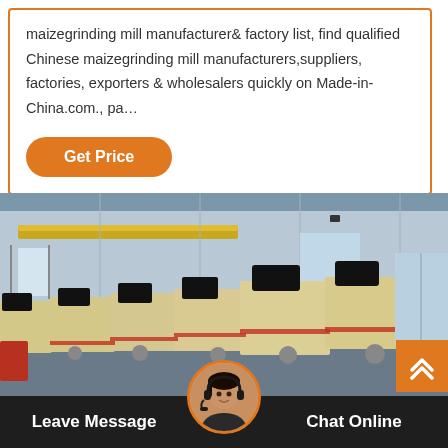maizegrinding mill manufacturer& factory list, find qualified Chinese maizegrinding mill manufacturers,suppliers, factories, exporters & wholesalers quickly on Made-in-China.com., pa…
Get Price
[Figure (photo): Factory interior showing a row of beige/cream colored industrial impact crusher machines lined up on a concrete floor inside a large industrial warehouse with grey metal walls and a yellow overhead crane.]
Leave Message
[Figure (photo): Circular avatar photo of a woman wearing a headset, representing a customer service agent.]
Chat Online